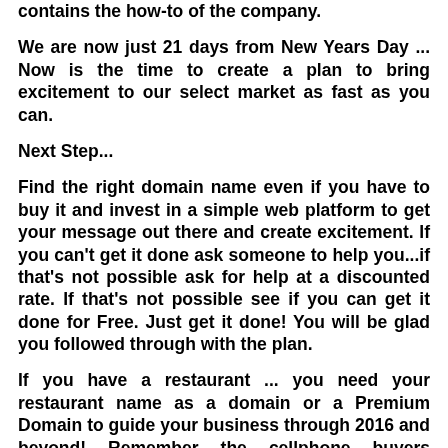contains the how-to of the company.
We are now just 21 days from New Years Day ... Now is the time to create a plan to bring excitement to our select market as fast as you can.
Next Step...
Find the right domain name even if you have to buy it and invest in a simple web platform to get your message out there and create excitement. If you can't get it done ask someone to help you...if that's not possible ask for help at a discounted rate. If that's not possible see if you can get it done for Free. Just get it done! You will be glad you followed through with the plan.
If you have a restaurant ... you need your restaurant name as a domain or a Premium Domain to guide your business through 2016 and beyond! Remember the cellphone buyers spending hundreds for a phone, only to end up in a drawer silently enjoying a "retirement"